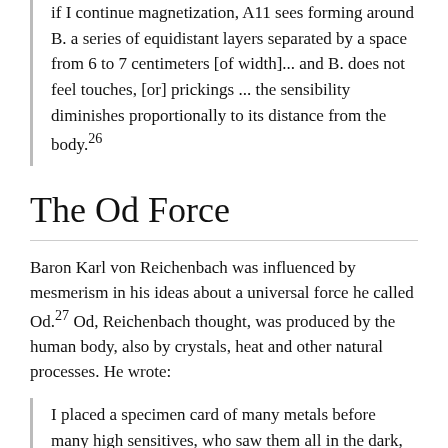if I continue magnetization, A11 sees forming around B. a series of equidistant layers separated by a space from 6 to 7 centimeters [of width]... and B. does not feel touches, [or] prickings ... the sensibility diminishes proportionally to its distance from the body.26
The Od Force
Baron Karl von Reichenbach was influenced by mesmerism in his ideas about a universal force he called Od.27 Od, Reichenbach thought, was produced by the human body, also by crystals, heat and other natural processes. He wrote:
I placed a specimen card of many metals before many high sensitives, who saw them all in the dark, some brighter, others darker. A glass case full of